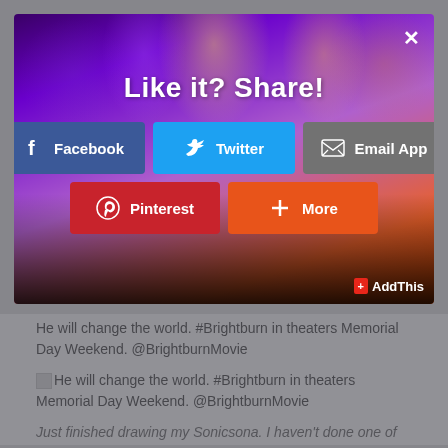[Figure (screenshot): Social sharing modal overlay with concert background image. Shows 'Like it? Share!' heading and sharing buttons: Facebook, Twitter, Email App, Pinterest, More. AddThis branding in bottom right. Close (x) button top right.]
He will change the world. #Brightburn in theaters Memorial Day Weekend. @BrightburnMovie
He will change the world. #Brightburn in theaters Memorial Day Weekend. @BrightburnMovie
Just finished drawing my Sonicsona. I haven't done one of